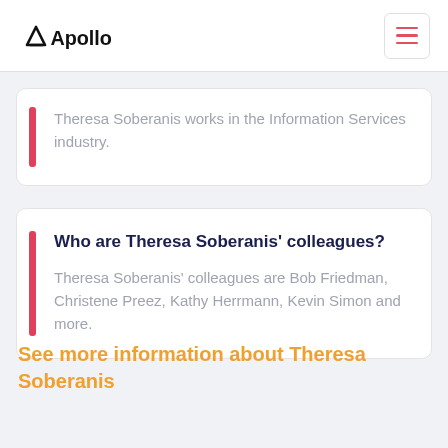Apollo
Theresa Soberanis works in the Information Services industry.
Who are Theresa Soberanis' colleagues?
Theresa Soberanis' colleagues are Bob Friedman, Christene Preez, Kathy Herrmann, Kevin Simon and more.
See more information about Theresa Soberanis